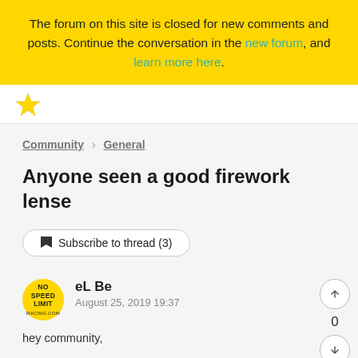The forum on this site is closed for new comments and posts. Continue the conversation in the new forum, and learn more here.
Anyone seen a good firework lense
Subscribe to thread (3)
eL Be
August 25, 2019 19:37
hey community,